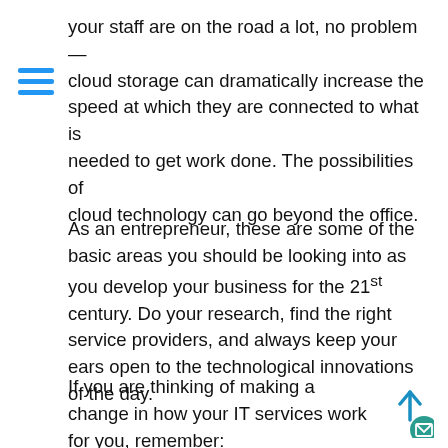your staff are on the road a lot, no problem — cloud storage can dramatically increase the speed at which they are connected to what is needed to get work done. The possibilities of cloud technology can go beyond the office.
As an entrepreneur, these are some of the basic areas you should be looking into as you develop your business for the 21st century. Do your research, find the right service providers, and always keep your ears open to the technological innovations of the day.
If you are thinking of making a change in how your IT services work for you, remember: